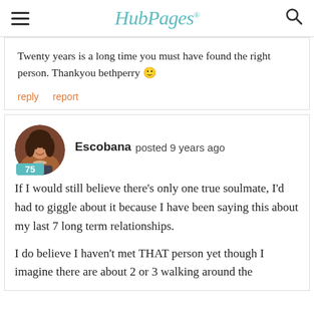HubPages
Twenty years is a long time you must have found the right person. Thankyou bethperry 🙂
reply   report
Escobana posted 9 years ago
If I would still believe there's only one true soulmate, I'd had to giggle about it because I have been saying this about my last 7 long term relationships.
I do believe I haven't met THAT person yet though I imagine there are about 2 or 3 walking around the